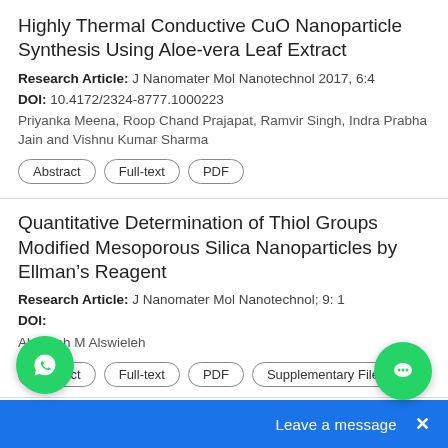Highly Thermal Conductive CuO Nanoparticle Synthesis Using Aloe-vera Leaf Extract
Research Article: J Nanomater Mol Nanotechnol 2017, 6:4
DOI: 10.4172/2324-8777.1000223
Priyanka Meena, Roop Chand Prajapat, Ramvir Singh, Indra Prabha Jain and Vishnu Kumar Sharma
Abstract
Full-text
PDF
Quantitative Determination of Thiol Groups Modified Mesoporous Silica Nanoparticles by Ellmanâs Reagent
Research Article: J Nanomater Mol Nanotechnol; 9: 1
DOI:
Abdullah M Alswieleh
Abstract
Full-text
PDF
Supplementary File
Alternative Way to Prepare Biocompat… Nanotags with Increased R…